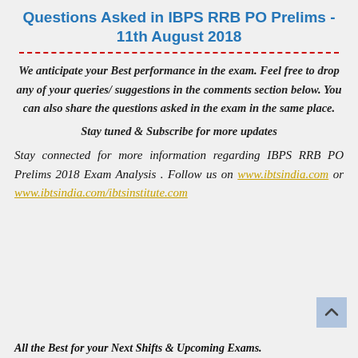Questions Asked in IBPS RRB PO Prelims - 11th August 2018
We anticipate your Best performance in the exam. Feel free to drop any of your queries/ suggestions in the comments section below. You can also share the questions asked in the exam in the same place.
Stay tuned & Subscribe for more updates
Stay connected for more information regarding IBPS RRB PO Prelims 2018 Exam Analysis . Follow us on www.ibtsindia.com or www.ibtsindia.com/ibtsinstitute.com
All the Best for your Next Shifts & Upcoming Exams.